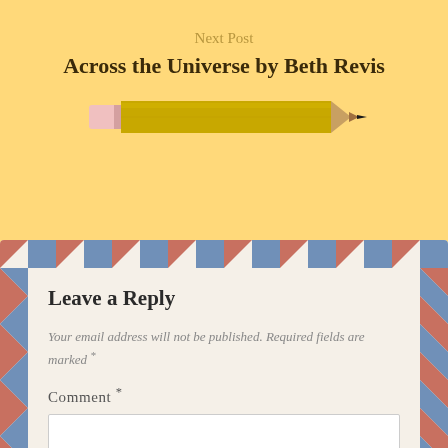Next Post
Across the Universe by Beth Revis
[Figure (illustration): A yellow pencil illustration with pink eraser on the left end and a sharp dark tip on the right end, shown horizontally against a yellow background.]
Leave a Reply
Your email address will not be published. Required fields are marked *
Comment *